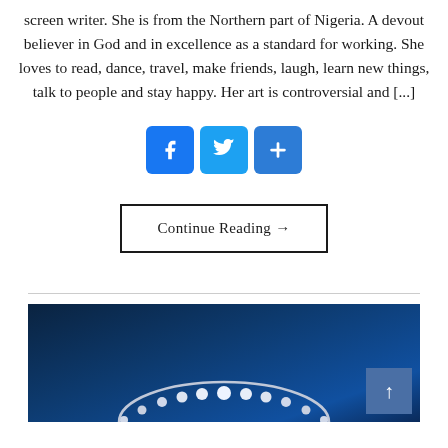screen writer. She is from the Northern part of Nigeria. A devout believer in God and in excellence as a standard for working. She loves to read, dance, travel, make friends, laugh, learn new things, talk to people and stay happy. Her art is controversial and [...]
[Figure (other): Social sharing icons: Facebook (blue with f), Twitter (blue with bird), and a blue plus/share button]
Continue Reading →
[Figure (photo): Dark blue background with a partial globe or planetary object with white/silver beads/dots visible at the bottom, and a scroll-to-top button in the lower right corner]